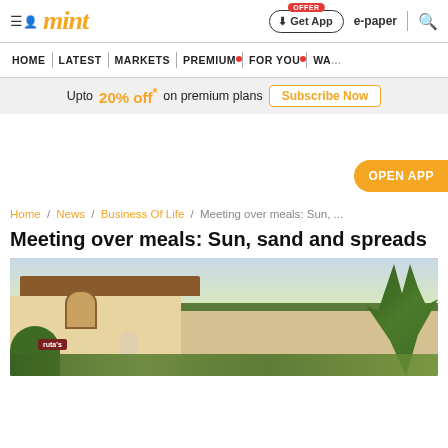mint | Get App | e-paper
HOME | LATEST | MARKETS | PREMIUM | FOR YOU | WA...
Upto 20% off* on premium plans Subscribe Now
OPEN APP
Home / News / Business Of Life / Meeting over meals: Sun, ...
Meeting over meals: Sun, sand and spreads
[Figure (photo): Exterior of a tropical restaurant (Ruta's) with palm trees, tiled roof, arched entrance and lush greenery]